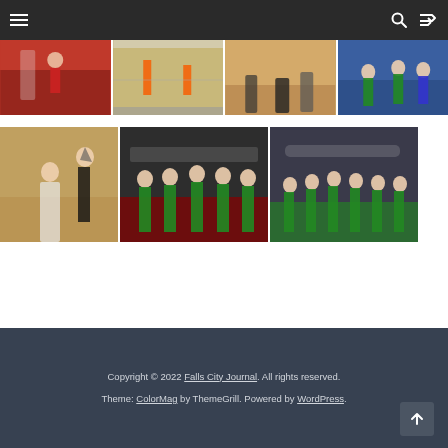Navigation bar with hamburger menu, search, and shuffle icons
[Figure (photo): Basketball player in red uniform near a red wall with gym background]
[Figure (photo): Basketball court with orange cones on hardwood floor]
[Figure (photo): Basketball players' feet/legs on hardwood gym floor]
[Figure (photo): Basketball players in green and blue uniforms competing]
[Figure (photo): Basketball player in white uniform shooting over defender in dark uniform, crowded gymnasium]
[Figure (photo): Boys basketball team in green uniforms holding trophy with medals, celebrating championship]
[Figure (photo): Girls basketball team in green uniforms holding trophy, celebrating championship in arena]
Copyright © 2022 Falls City Journal. All rights reserved. Theme: ColorMag by ThemeGrill. Powered by WordPress.